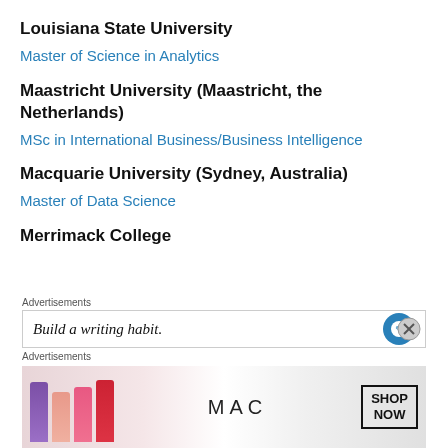Louisiana State University
Master of Science in Analytics
Maastricht University (Maastricht, the Netherlands)
MSc in International Business/Business Intelligence
Macquarie University (Sydney, Australia)
Master of Data Science
Merrimack College
Advertisements
Build a writing habit.
Advertisements
[Figure (other): MAC cosmetics advertisement with lipsticks and SHOP NOW button]